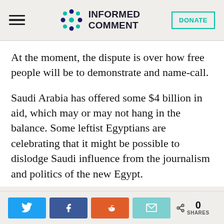INFORMED COMMENT
At the moment, the dispute is over how free people will be to demonstrate and name-call.
Saudi Arabia has offered some $4 billion in aid, which may or may not hang in the balance. Some leftist Egyptians are celebrating that it might be possible to dislodge Saudi influence from the journalism and politics of the new Egypt.
0 SHARES